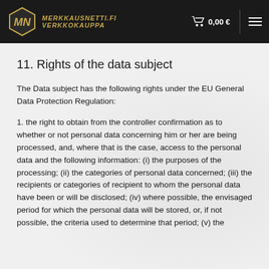MERKKAUSNETTI.FI VERKKOKAUPPA | 0,00 €
11. Rights of the data subject
The Data subject has the following rights under the EU General Data Protection Regulation:
1. the right to obtain from the controller confirmation as to whether or not personal data concerning him or her are being processed, and, where that is the case, access to the personal data and the following information: (i) the purposes of the processing; (ii) the categories of personal data concerned; (iii) the recipients or categories of recipient to whom the personal data have been or will be disclosed; (iv) where possible, the envisaged period for which the personal data will be stored, or, if not possible, the criteria used to determine that period; (v) the